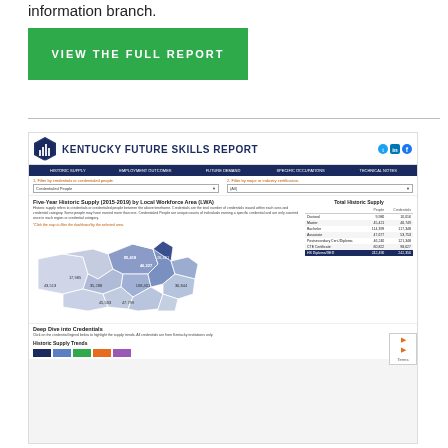information branch.
[Figure (other): Green button reading VIEW THE FULL REPORT]
[Figure (screenshot): Screenshot of Kentucky Future Skills Report dashboard showing Five-Year Historic Supply (2015-2019) by Local Workforce Area (LWA), a Kentucky map with regional data, a summary table of Total Historic Supply by credential type, and a Deep Dive into Credentials section with Historic Supply Trends.]